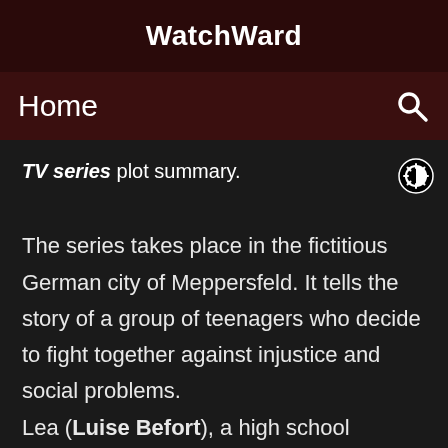WatchWard
Home
TV series plot summary.
The series takes place in the fictitious German city of Meppersfeld. It tells the story of a group of teenagers who decide to fight together against injustice and social problems. Lea (Luise Befort), a high school student from a wealthy family, is bored and frustrated by her privileged life. She doubts her parents' way of